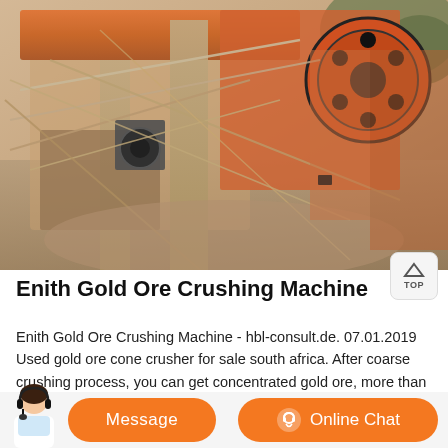[Figure (photo): Industrial gold ore crushing machine with orange mechanical components, large flywheel visible at top right, cables/ropes strung across the machinery, set outdoors in a dusty/rocky environment]
Enith Gold Ore Crushing Machine
Enith Gold Ore Crushing Machine - hbl-consult.de. 07.01.2019 Used gold ore cone crusher for sale south africa. After coarse crushing process, you can get concentrated gold ore, more than 10 mm in diameter materials with standard cs series cone crusher and the screening machine. gold ore crusher used in south africa has also been used as a main crushing